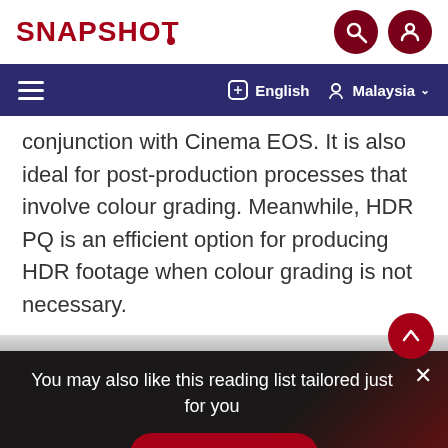SNAPSHOT
conjunction with Cinema EOS. It is also ideal for post-production processes that involve colour grading. Meanwhile, HDR PQ is an efficient option for producing HDR footage when colour grading is not necessary.
You may also like this reading list tailored just for you
READ NOW